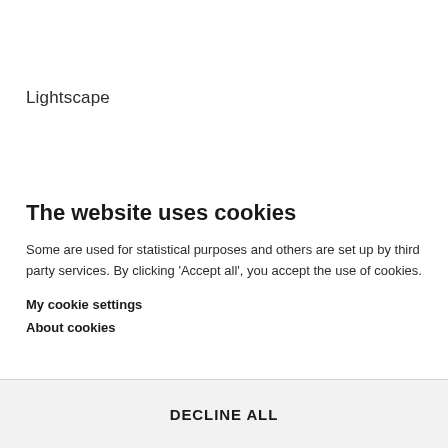Lightscape
The website uses cookies
Some are used for statistical purposes and others are set up by third party services. By clicking 'Accept all', you accept the use of cookies.
My cookie settings
About cookies
DECLINE ALL